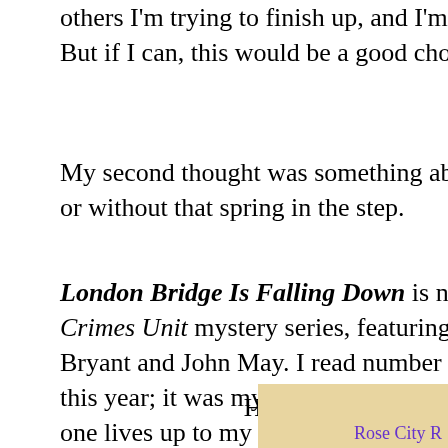others I'm trying to finish up, and I'm not sure But if I can, this would be a good choice to en
My second thought was something about the or without that spring in the step.
London Bridge Is Falling Down is number 18 Crimes Unit mystery series, featuring the deli Bryant and John May. I read number 17 in the this year; it was my introduction to the books one lives up to my expectations.
Have a good weeke And happy re
[Figure (photo): Bottom-right corner image thumbnail with 'Rose City R' text in purple, appears to be a book or blog image on aged paper background]